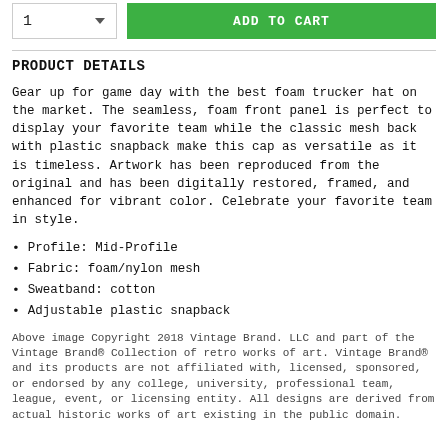[Figure (other): Quantity selector input box with number 1 and dropdown arrow, next to a green ADD TO CART button]
PRODUCT DETAILS
Gear up for game day with the best foam trucker hat on the market. The seamless, foam front panel is perfect to display your favorite team while the classic mesh back with plastic snapback make this cap as versatile as it is timeless. Artwork has been reproduced from the original and has been digitally restored, framed, and enhanced for vibrant color. Celebrate your favorite team in style.
Profile: Mid-Profile
Fabric: foam/nylon mesh
Sweatband: cotton
Adjustable plastic snapback
Above image Copyright 2018 Vintage Brand. LLC and part of the Vintage Brand® Collection of retro works of art. Vintage Brand® and its products are not affiliated with, licensed, sponsored, or endorsed by any college, university, professional team, league, event, or licensing entity. All designs are derived from actual historic works of art existing in the public domain.